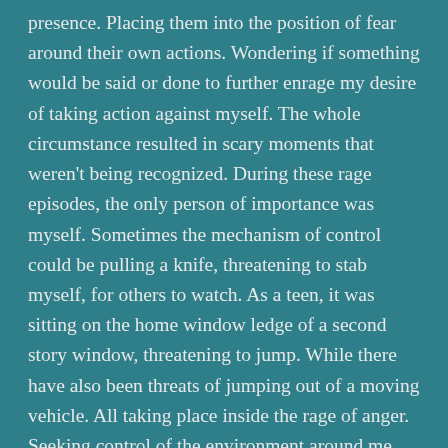presence. Placing them into the position of fear around their own actions. Wondering if something would be said or done to further enrage my desire of taking action against myself. The whole circumstance resulted in scary moments that weren't being recognized. During these rage episodes, the only person of importance was myself. Sometimes the mechanism of control could be pulling a knife, threatening to stab myself, for others to watch. As a teen, it was sitting on the home window ledge of a second story window, threatening to jump. While there have also been threats of jumping out of a moving vehicle. All taking place inside the rage of anger. Seeking control of the environment around me, when processing of my emotions had been lost. The raging might also result in driving aggressively. Wondering if control would be lost, resulting in devastating injury. The frustration and anger having become so great in those moments, it didn't matter who would be hurt. My pain took precedent over everything inside the world. My thoughts and